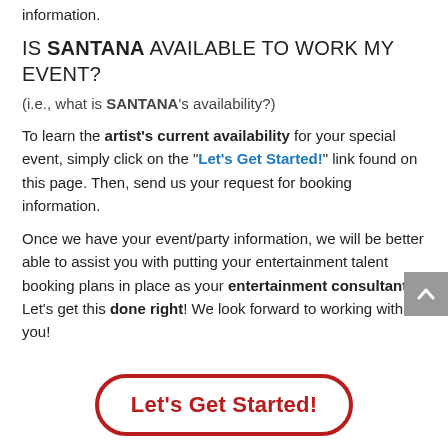information.
IS SANTANA AVAILABLE TO WORK MY EVENT?
(i.e., what is SANTANA's availability?)
To learn the artist's current availability for your special event, simply click on the "Let's Get Started!" link found on this page. Then, send us your request for booking information.
Once we have your event/party information, we will be better able to assist you with putting your entertainment talent booking plans in place as your entertainment consultant. Let's get this done right! We look forward to working with you!
Let's Get Started!